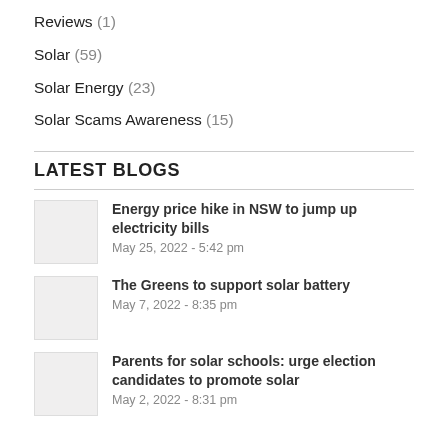Reviews (1)
Solar (59)
Solar Energy (23)
Solar Scams Awareness (15)
LATEST BLOGS
Energy price hike in NSW to jump up electricity bills
May 25, 2022 - 5:42 pm
The Greens to support solar battery
May 7, 2022 - 8:35 pm
Parents for solar schools: urge election candidates to promote solar
May 2, 2022 - 8:31 pm